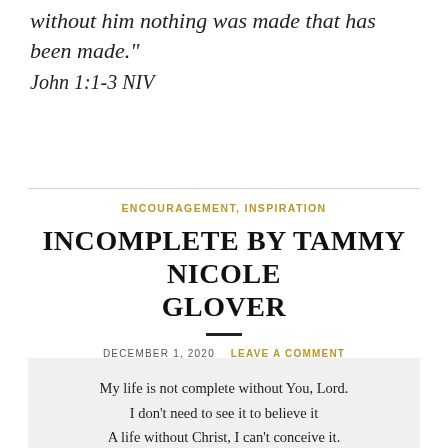without him nothing was made that has been made." John 1:1-3 NIV
ENCOURAGEMENT, INSPIRATION
INCOMPLETE BY TAMMY NICOLE GLOVER
DECEMBER 1, 2020   LEAVE A COMMENT
My life is not complete without You, Lord.
I don't need to see it to believe it
A life without Christ, I can't conceive it.